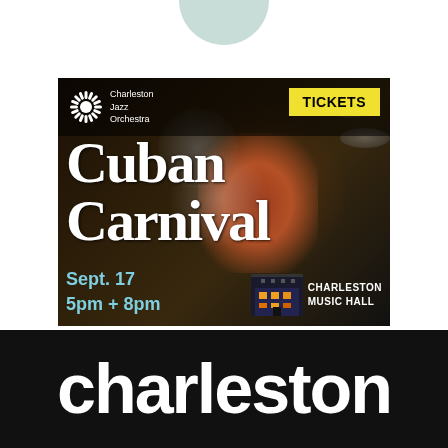[Figure (illustration): Light teal/mint semi-circle shape at top of page]
[Figure (photo): Event poster for Charleston Jazz Orchestra's Cuban Carnival concert. Dark background with photo of musician playing percussion. White text reads 'Cuban Carnival', blue text reads 'Sept. 17 / 5pm + 8pm', yellow TICKETS button top right, Charleston Music Hall venue name and logo, CJO starburst logo top left.]
charleston